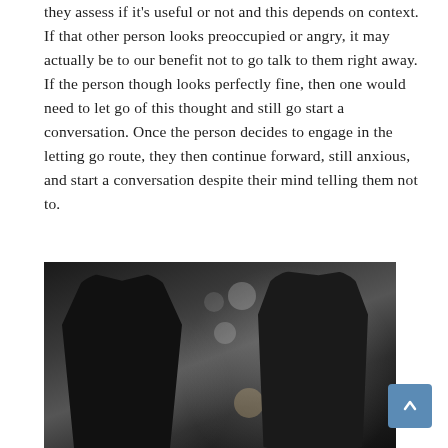they assess if it's useful or not and this depends on context. If that other person looks preoccupied or angry, it may actually be to our benefit not to go talk to them right away. If the person though looks perfectly fine, then one would need to let go of this thought and still go start a conversation. Once the person decides to engage in the letting go route, they then continue forward, still anxious, and start a conversation despite their mind telling them not to.
[Figure (photo): Black and white photograph of two people — a woman on the left wearing a beanie hat and winter coat, and a man on the right wearing a beanie and scarf — facing each other and conversing outdoors at night, with bokeh city lights in the background.]